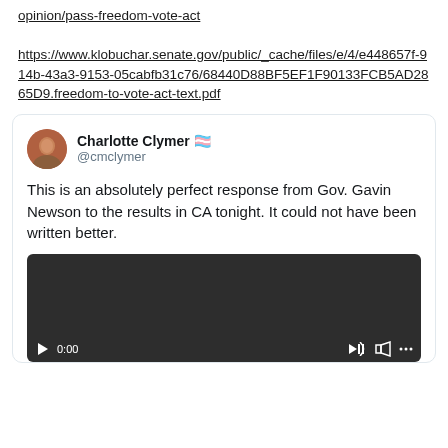opinion/pass-freedom-vote-act
https://www.klobuchar.senate.gov/public/_cache/files/e/4/e448657f-914b-43a3-9153-05cabfb31c76/68440D88BF5EF1F90133FCB5AD2865D9.freedom-to-vote-act-text.pdf
[Figure (screenshot): Embedded tweet from Charlotte Clymer (@cmclymer) with avatar, username, handle, tweet text reading 'This is an absolutely perfect response from Gov. Gavin Newson to the results in CA tonight. It could not have been written better.' and a video thumbnail showing a dark video player with 0:00 timestamp and controls.]